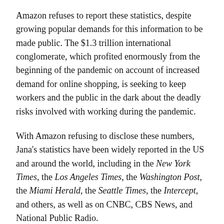Amazon refuses to report these statistics, despite growing popular demands for this information to be made public. The $1.3 trillion international conglomerate, which profited enormously from the beginning of the pandemic on account of increased demand for online shopping, is seeking to keep workers and the public in the dark about the deadly risks involved with working during the pandemic.
With Amazon refusing to disclose these numbers, Jana's statistics have been widely reported in the US and around the world, including in the New York Times, the Los Angeles Times, the Washington Post, the Miami Herald, the Seattle Times, the Intercept, and others, as well as on CNBC, CBS News, and National Public Radio.
Jana, 58, worked for Amazon for four and a half years at the SDF8 facility in Jeffersonville, Indiana. She also works